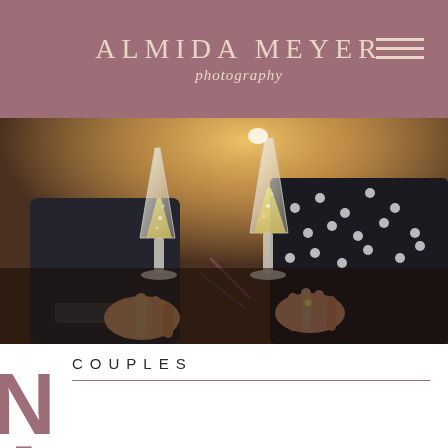ALMIDA MEYER photography
[Figure (photo): Two hands holding champagne flutes in a toast, outdoors with warm golden bokeh background. The person on the left wears a dark suit jacket, the person on the right wears a black polka-dot dress and has rings on their fingers.]
COUPLES